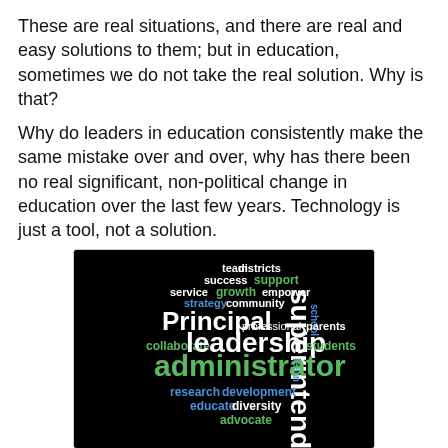These are real situations, and there are real and easy solutions to them; but in education, sometimes we do not take the real solution. Why is that?
Why do leaders in education consistently make the same mistake over and over, why has there been no real significant, non-political change in education over the last few years. Technology is just a tool, not a solution.
[Figure (illustration): Word cloud on black background featuring education leadership terms: Principal (white, large), leadership (white, large), administrator (green, large), superintendent (white, vertical large), collaborate (green), professional (white), community (white), strategy (blue), growth (green), service (white), success (white), team (white), districts (white), support (green), school (blue, vertical), empower (white), parents (white), students (green), research (blue), development (blue), educate (blue), diversity (white), advocate (green), learn (blue, vertical)]
You are a leader in education, but are you trained to lead? Do you know how to lead? What have you done make yourself ready to lead?